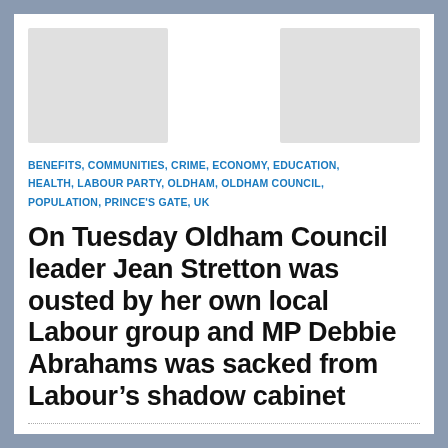[Figure (photo): Two placeholder image boxes at the top of the article]
BENEFITS, COMMUNITIES, CRIME, ECONOMY, EDUCATION, HEALTH, LABOUR PARTY, OLDHAM, OLDHAM COUNCIL, POPULATION, PRINCE'S GATE, UK
On Tuesday Oldham Council leader Jean Stretton was ousted by her own local Labour group and MP Debbie Abrahams was sacked from Labour’s shadow cabinet
[Figure (photo): Two placeholder image boxes at the bottom of the article]